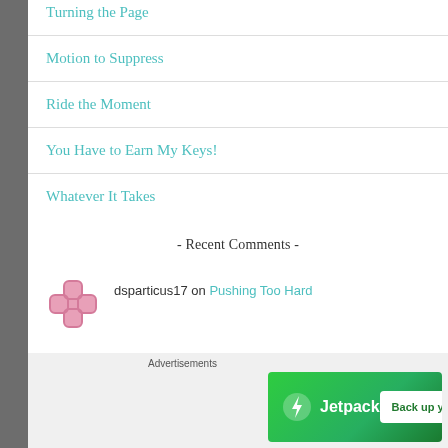Turning the Page
Motion to Suppress
Ride the Moment
You Have to Earn My Keys!
Whatever It Takes
- Recent Comments -
dsparticus17 on Pushing Too Hard
[Figure (infographic): Advertisements banner: Jetpack logo with lightning bolt icon and 'Back up your site' button on green background]